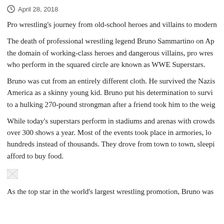April 28, 2018
Pro wrestling's journey from old-school heroes and villains to modern
The death of professional wrestling legend Bruno Sammartino on Ap the domain of working-class heroes and dangerous villains, pro wres who perform in the squared circle are known as WWE Superstars.
Bruno was cut from an entirely different cloth. He survived the Nazis America as a skinny young kid. Bruno put his determination to survi to a hulking 270-pound strongman after a friend took him to the weig
While today's superstars perform in stadiums and arenas with crowds over 300 shows a year. Most of the events took place in armories, lo hundreds instead of thousands. They drove from town to town, sleepi afford to buy food.
[Figure (photo): Broken image placeholder]
As the top star in the world's largest wrestling promotion, Bruno was